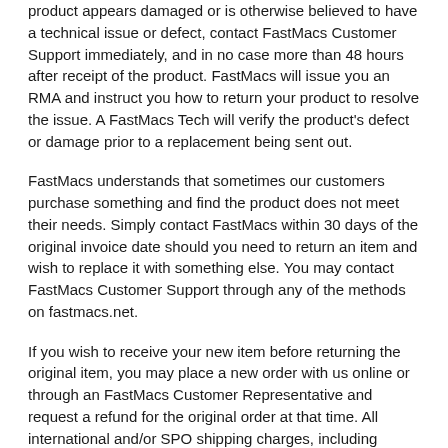product appears damaged or is otherwise believed to have a technical issue or defect, contact FastMacs Customer Support immediately, and in no case more than 48 hours after receipt of the product. FastMacs will issue you an RMA and instruct you how to return your product to resolve the issue. A FastMacs Tech will verify the product's defect or damage prior to a replacement being sent out.
FastMacs understands that sometimes our customers purchase something and find the product does not meet their needs. Simply contact FastMacs within 30 days of the original invoice date should you need to return an item and wish to replace it with something else. You may contact FastMacs Customer Support through any of the methods on fastmacs.net.
If you wish to receive your new item before returning the original item, you may place a new order with us online or through an FastMacs Customer Representative and request a refund for the original order at that time. All international and/or SPO shipping charges, including Returns for Warranty or Returns for Refund, are the sole responsibility of the customer.
FastMacs will us its best efforts to replace any product found to be defective with the same